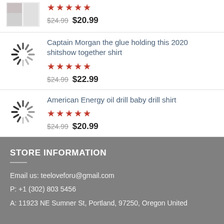$24.99 $20.99
Captain Morgan the glue holding this 2020 shitshow together shirt
★★★★★
$24.99 $22.99
American Energy oil drill baby drill shirt
★★★★★
$24.99 $20.99
STORE INFORMATION
Email us: teeloveforu@gmail.com
P: +1 (302) 803 5456
A: 11923 NE Sumner St, Portland, 97250, Oregon United